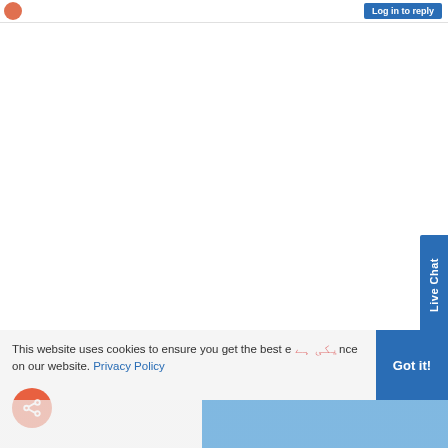[Figure (screenshot): Top bar of a website forum page with a user avatar (orange circle) on the left and a blue 'Log in to reply' button on the right]
[Figure (screenshot): Blue 'Live Chat' vertical tab on the right side of the page]
This website uses cookies to ensure you get the best experience on our website. Privacy Policy
[Figure (screenshot): Blue 'Got it!' button on the cookie consent banner]
[Figure (screenshot): Orange share/forward button (circular) at the bottom left]
یکی ہے (Urdu text in pink/red)